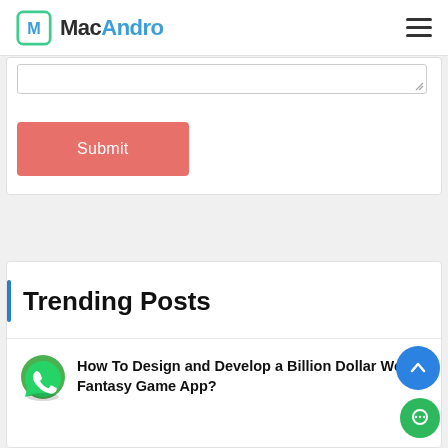MacAndro
[Figure (screenshot): Textarea input stub with resize handle at bottom-right, and a coral/salmon Submit button below it]
Trending Posts
How To Design and Develop a Billion Dollar Worth Fantasy Game App?